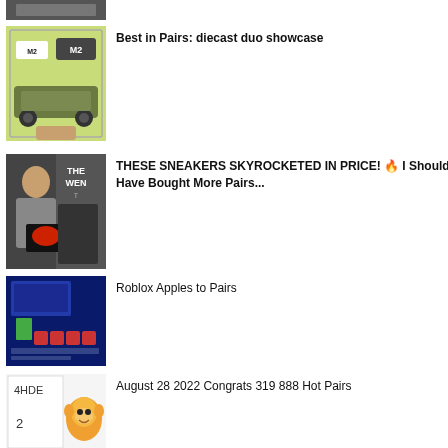[Figure (screenshot): Partial thumbnail at top of page, cropped video thumbnail]
Best in Pairs: diecast duo showcase
THESE SNEAKERS SKYROCKETED IN PRICE! 🔥 I Should Have Bought More Pairs...
Roblox Apples to Pairs
August 28 2022 Congrats 319 888 Hot Pairs